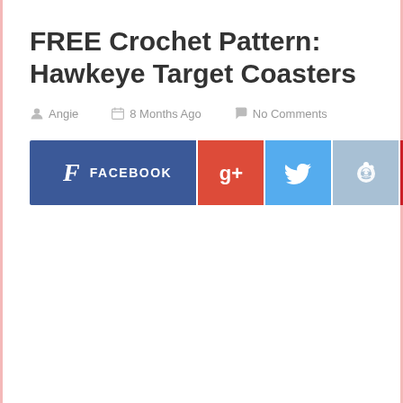FREE Crochet Pattern: Hawkeye Target Coasters
Angie   8 Months Ago   No Comments
[Figure (infographic): Social sharing buttons row: Facebook, Google+, Twitter, Reddit, Pinterest, StumbleUpon, Email]